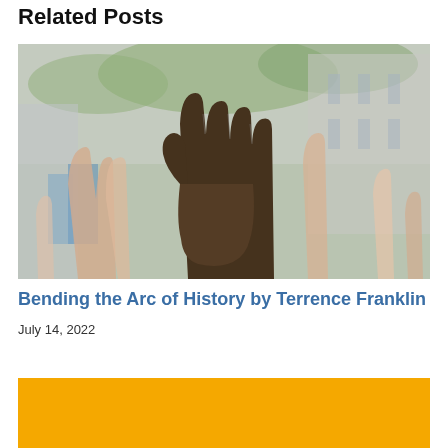Related Posts
[Figure (photo): Multiple hands of diverse people raised up against a blurred outdoor background with trees and buildings, symbolizing diversity and solidarity.]
Bending the Arc of History by Terrence Franklin
July 14, 2022
[Figure (photo): Solid golden/amber yellow background image, partially visible.]